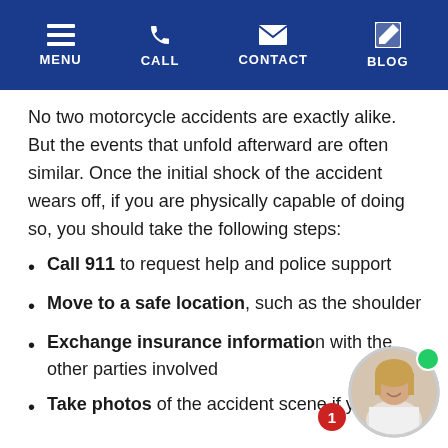MENU | CALL | CONTACT | BLOG
No two motorcycle accidents are exactly alike. But the events that unfold afterward are often similar. Once the initial shock of the accident wears off, if you are physically capable of doing so, you should take the following steps:
Call 911 to request help and police support
Move to a safe location, such as the shoulder
Exchange insurance information with the other parties involved
Take photos of the accident scene if you
[Figure (photo): Chat widget showing a woman with blonde hair smiling, with a green online indicator dot and a red notification badge showing the number 1]